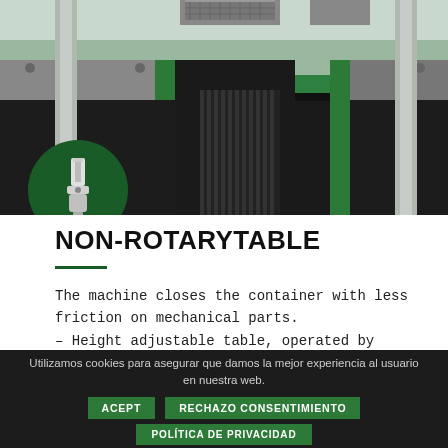[Figure (photo): Close-up photo of industrial capping/sealing machine with green metal frame, black conveyor belt with teeth, metal plates and brackets, and cylindrical metal pillars.]
NON-ROTARYTABLE
The machine closes the container with less friction on mechanical parts.
– Height adjustable table, operated by pneumatic pedal.
Utilizamos cookies para asegurar que damos la mejor experiencia al usuario en nuestra web.
ACEPT   RECHAZO CONSENTIMIENTO   POLÍTICA DE PRIVACIDAD